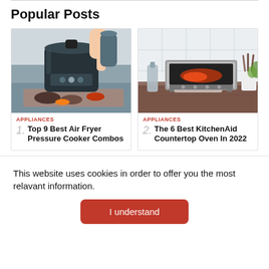Popular Posts
[Figure (photo): Photo of a Ninja Foodi air fryer pressure cooker combo being used, with cooked meat and vegetables on a tray below it, in a kitchen setting.]
APPLIANCES
1. Top 9 Best Air Fryer Pressure Cooker Combos
[Figure (photo): Photo of a KitchenAid countertop oven on a wooden kitchen counter with cooking utensils and a bottle nearby, with food roasting inside.]
APPLIANCES
2. The 6 Best KitchenAid Countertop Oven In 2022
This website uses cookies in order to offer you the most relavant information.